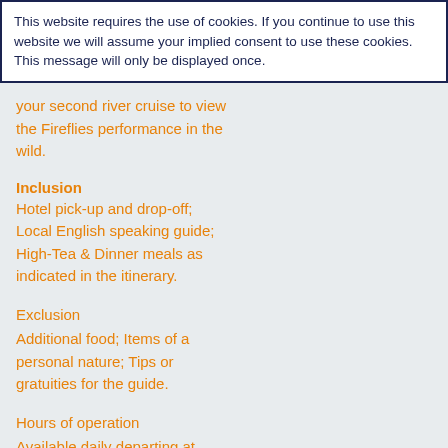This website requires the use of cookies. If you continue to use this website we will assume your implied consent to use these cookies. This message will only be displayed once.
your second river cruise to view the Fireflies performance in the wild.
Inclusion
Hotel pick-up and drop-off; Local English speaking guide; High-Tea & Dinner meals as indicated in the itinerary.
Exclusion
Additional food; Items of a personal nature; Tips or gratuities for the guide.
Hours of operation
Available daily departing at 2:00pm. Be ready in the lobby of your hotel no later than